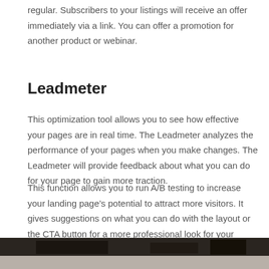regular. Subscribers to your listings will receive an offer immediately via a link. You can offer a promotion for another product or webinar.
Leadmeter
This optimization tool allows you to see how effective your pages are in real time. The Leadmeter analyzes the performance of your pages when you make changes. The Leadmeter will provide feedback about what you can do for your page to gain more traction.
This function allows you to run A/B testing to increase your landing page's potential to attract more visitors. It gives suggestions on what you can do with the layout or the CTA button for a more professional look for your online business.
[Figure (photo): Partial view of a dark-themed computer setup or workspace, showing a monitor and desk area]